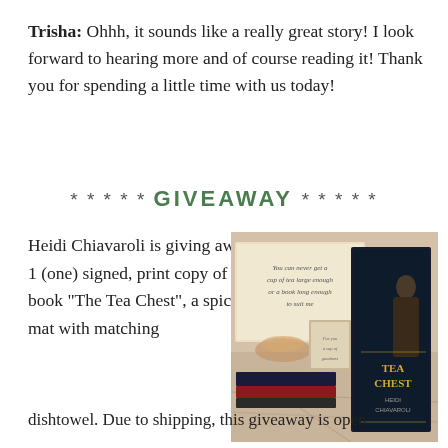Trisha:  Ohhh, it sounds like a really great story! I look forward to hearing more and of course reading it! Thank you for spending a little time with us today!
* * * * *  GIVEAWAY  * * * * *
Heidi Chiavaroli is giving away 1 (one) signed, print copy of her book “The Tea Chest”, a spiced mat with matching dishtowel. Due to shipping, this giveaway is open
[Figure (photo): Photo of The Tea Chest book by Heidi Chiavaroli along with a framed quote card reading 'You can never get a cup of tea large enough or a book long enough to suit me', and other book-related items on a granite surface.]